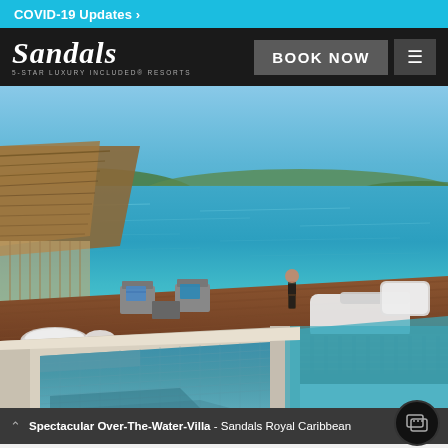COVID-19 Updates >
[Figure (logo): Sandals logo - white italic script text on dark background with tagline '5-STAR LUXURY INCLUDED® RESORTS']
BOOK NOW
[Figure (photo): Luxury over-the-water villa at Sandals Royal Caribbean. Shows a wooden deck extending over turquoise Caribbean water with lounge chairs, a thatched roof bungalow, a person standing at the deck edge, and a private plunge pool with blue mosaic tiles in the foreground. Clear blue sky and green hills in the background.]
Spectacular Over-The-Water-Villa - Sandals Royal Caribbean